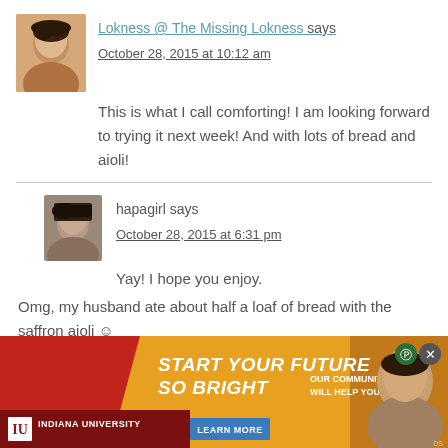[Figure (photo): Avatar photo of Lokness, a woman with dark hair]
Lokness @ The Missing Lokness says
October 28, 2015 at 10:12 am
This is what I call comforting! I am looking forward to trying it next week! And with lots of bread and aioli!
[Figure (photo): Avatar photo of hapagirl, a woman with dark hair]
hapagirl says
October 28, 2015 at 6:31 pm
Yay! I hope you enjoy.
Omg, my husband ate about half a loaf of bread with the saffron aioli ☺
[Figure (infographic): Indiana University advertisement banner: START YOUR FUTURE SO BRIGHT - OUR COMMUNITY WILL HELP YOU THRIVE. LEARN MORE button. Photo of smiling woman.]